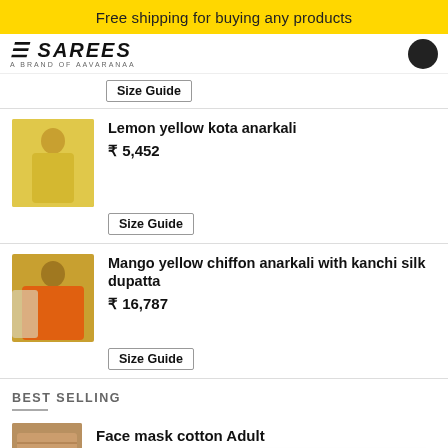Free shipping for buying any products
[Figure (logo): Sarees brand logo with text 'A BRAND OF AAVARANAA' and a dark circular icon]
Size Guide
[Figure (photo): Woman wearing lemon yellow kota anarkali dress]
Lemon yellow kota anarkali
₹ 5,452
Size Guide
[Figure (photo): Woman wearing mango yellow chiffon anarkali with kanchi silk dupatta]
Mango yellow chiffon anarkali with kanchi silk dupatta
₹ 16,787
Size Guide
BEST SELLING
[Figure (photo): Face mask cotton product thumbnail]
Face mask cotton Adult